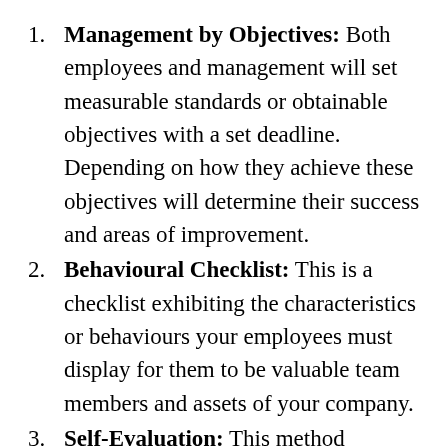Management by Objectives: Both employees and management will set measurable standards or obtainable objectives with a set deadline. Depending on how they achieve these objectives will determine their success and areas of improvement.
Behavioural Checklist: This is a checklist exhibiting the characteristics or behaviours your employees must display for them to be valuable team members and assets of your company.
Self-Evaluation: This method provides your employees with a voice